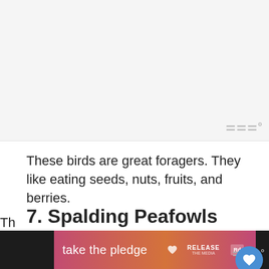[Figure (other): Gray advertisement placeholder area at top of page]
These birds are great foragers. They like eating seeds, nuts, fruits, and berries.
7. Spalding Peafowls
Spalding peahens are small birds. They are less than 5 inches tall and weigh only 3 pounds. Spalding peas are found in South America.
[Figure (screenshot): Bottom advertisement banner with 'take the pledge' text on gradient pink/orange background, with RELEASE logo and watermark]
Th